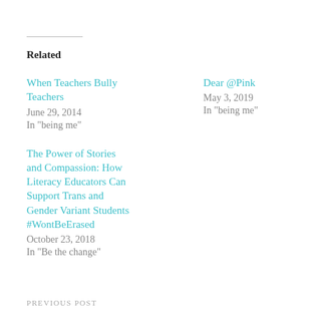Related
When Teachers Bully Teachers
June 29, 2014
In "being me"
Dear @Pink
May 3, 2019
In "being me"
The Power of Stories and Compassion: How Literacy Educators Can Support Trans and Gender Variant Students #WontBeErased
October 23, 2018
In "Be the change"
PREVIOUS POST